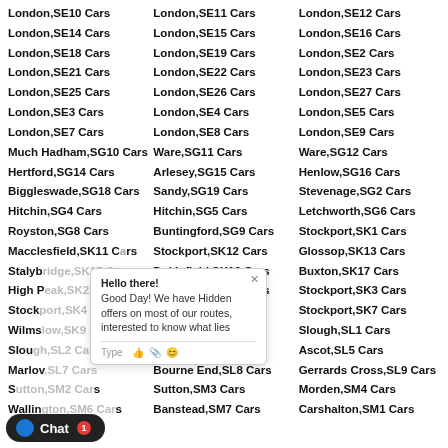London,SE10 Cars
London,SE11 Cars
London,SE12 Cars
London,SE14 Cars
London,SE15 Cars
London,SE16 Cars
London,SE18 Cars
London,SE19 Cars
London,SE2 Cars
London,SE21 Cars
London,SE22 Cars
London,SE23 Cars
London,SE25 Cars
London,SE26 Cars
London,SE27 Cars
London,SE3 Cars
London,SE4 Cars
London,SE5 Cars
London,SE7 Cars
London,SE8 Cars
London,SE9 Cars
Much Hadham,SG10 Cars
Ware,SG11 Cars
Ware,SG12 Cars
Hertford,SG14 Cars
Arlesey,SG15 Cars
Henlow,SG16 Cars
Biggleswade,SG18 Cars
Sandy,SG19 Cars
Stevenage,SG2 Cars
Hitchin,SG4 Cars
Hitchin,SG5 Cars
Letchworth,SG6 Cars
Royston,SG8 Cars
Buntingford,SG9 Cars
Stockport,SK1 Cars
Macclesfield,SK11 Cars
Stockport,SK12 Cars
Glossop,SK13 Cars
Stalybridge,SK15 Cars
Dukinfield,SK16 Cars
Buxton,SK17 Cars
High Peak,SK22 Cars
High Peak,SK23 Cars
Stockport,SK3 Cars
Stockport,SK4 Cars
Stockport,SK6 Cars
Stockport,SK7 Cars
Wilmslow,SK9 Cars
Iver,SL0 Cars
Slough,SL1 Cars
Slough,SL2 Cars
Windsor,SL4 Cars
Ascot,SL5 Cars
Marlow,SL7 Cars
Bourne End,SL8 Cars
Gerrards Cross,SL9 Cars
Sutton,SM2 Cars
Sutton,SM3 Cars
Morden,SM4 Cars
Wallington,SM6 Cars
Banstead,SM7 Cars
Carshalton,SM1 Cars